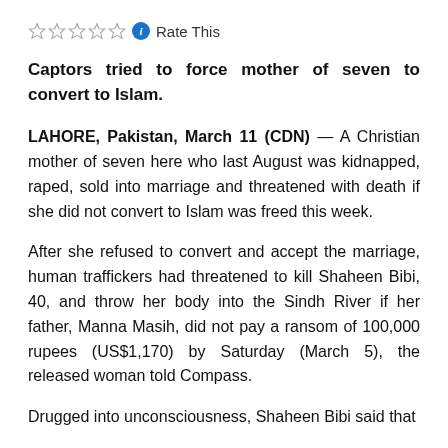Rate This
Captors tried to force mother of seven to convert to Islam.
LAHORE, Pakistan, March 11 (CDN) — A Christian mother of seven here who last August was kidnapped, raped, sold into marriage and threatened with death if she did not convert to Islam was freed this week.
After she refused to convert and accept the marriage, human traffickers had threatened to kill Shaheen Bibi, 40, and throw her body into the Sindh River if her father, Manna Masih, did not pay a ransom of 100,000 rupees (US$1,170) by Saturday (March 5), the released woman told Compass.
Drugged into unconsciousness, Shaheen Bibi said that